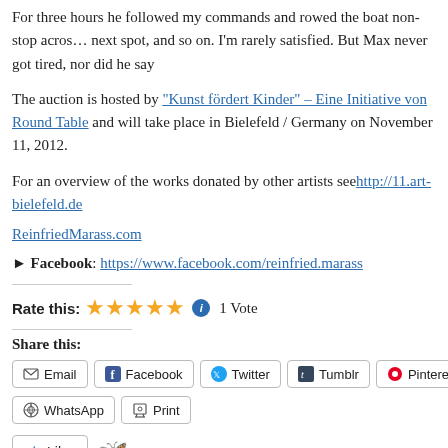For three hours he followed my commands and rowed the boat non-stop across the next spot, and so on. I'm rarely satisfied. But Max never got tired, nor did he say
The auction is hosted by "Kunst fördert Kinder" – Eine Initiative von Round Table and will take place in Bielefeld / Germany on November 11, 2012.
For an overview of the works donated by other artists see http://11.art-bielefeld.de
ReinfriedMarass.com
▶ Facebook: https://www.facebook.com/reinfried.marass
Rate this: ★★★★★ ℹ 1 Vote
Share this:
Email Facebook Twitter Tumblr Pinterest WhatsApp Print
Like One blogger likes this.
Related